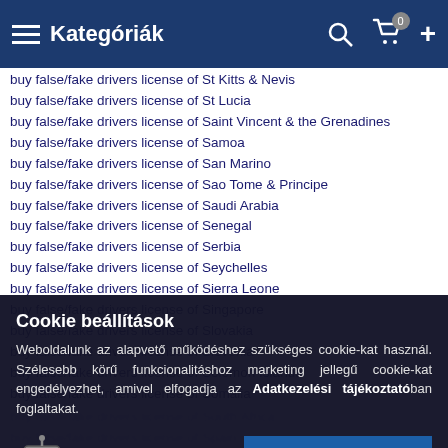Kategóriák
buy false/fake drivers license of St Kitts & Nevis
buy false/fake drivers license of St Lucia
buy false/fake drivers license of Saint Vincent & the Grenadines
buy false/fake drivers license of Samoa
buy false/fake drivers license of San Marino
buy false/fake drivers license of Sao Tome & Principe
buy false/fake drivers license of Saudi Arabia
buy false/fake drivers license of Senegal
buy false/fake drivers license of Serbia
buy false/fake drivers license of Seychelles
buy false/fake drivers license of Sierra Leone
buy false/fake drivers license of Singapore
buy false/fake drivers license of Slovakia
buy false/fake drivers license of Slovenia
buy false/fake drivers license of Solomon Islands
buy false/fake drivers license of Somalia
Cookie beállítások — Weboldalunk az alapvető működéshez szükséges cookie-kat használ. Szélesebb körű funkcionalitáshoz marketing jellegű cookie-kat engedélyezhet, amivel elfogadja az Adatkezelési tájékoztatóban foglaltakat.
Nem engedélyezem | ENGEDÉLYEZEM